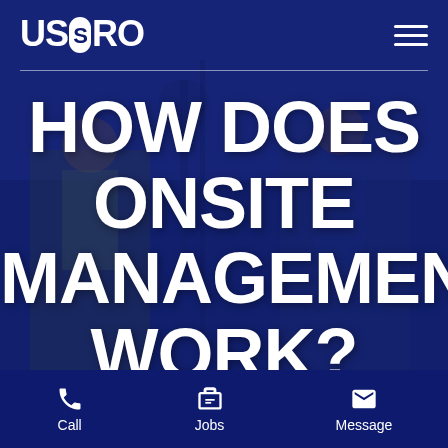USPRO
HOW DOES ONSITE MANAGEMENT WORK?
Call  Jobs  Message